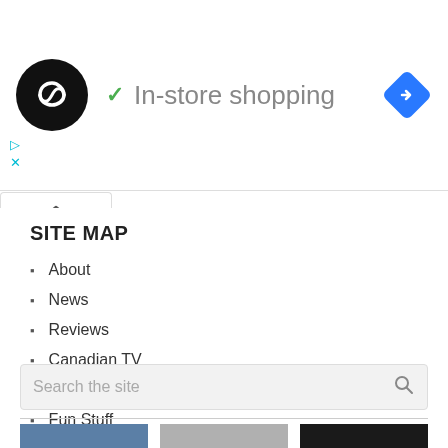[Figure (screenshot): Ad banner with circular logo (dark circle with infinity-like symbol), green checkmark, text 'In-store shopping', blue diamond navigation icon, and small cyan ad control icons (play/close)]
[Figure (infographic): Collapse/accordion tab button with upward caret arrow]
SITE MAP
About
News
Reviews
Canadian TV
Opinions
Fun Stuff
[Figure (screenshot): Search input box with placeholder text 'Search the site' and a search/magnify icon on the right]
[Figure (photo): Three partially visible thumbnail images at the bottom of the page]